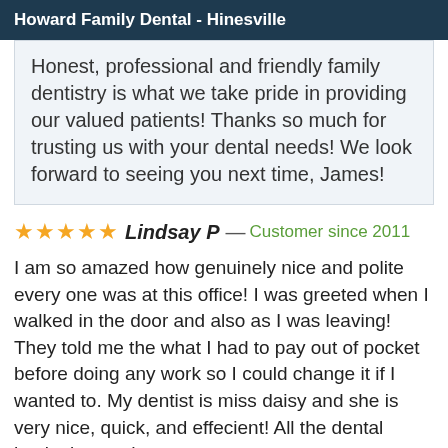Howard Family Dental - Hinesville
Honest, professional and friendly family dentistry is what we take pride in providing our valued patients! Thanks so much for trusting us with your dental needs! We look forward to seeing you next time, James!
★★★★★ Lindsay P — Customer since 2011
I am so amazed how genuinely nice and polite every one was at this office! I was greeted when I walked in the door and also as I was leaving! They told me the what I had to pay out of pocket before doing any work so I could change it if I wanted to. My dentist is miss daisy and she is very nice, quick, and effecient! All the dental hygienists and